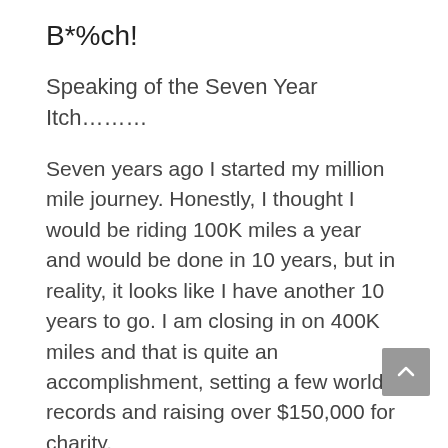B*%ch!
Speaking of the Seven Year Itch........
Seven years ago I started my million mile journey. Honestly, I thought I would be riding 100K miles a year and would be done in 10 years, but in reality, it looks like I have another 10 years to go. I am closing in on 400K miles and that is quite an accomplishment, setting a few world records and raising over $150,000 for charity.
The biggest roadblock continues to be finding ways to cover my travel expenses.
After seven years, I think I'm ready to scratch a